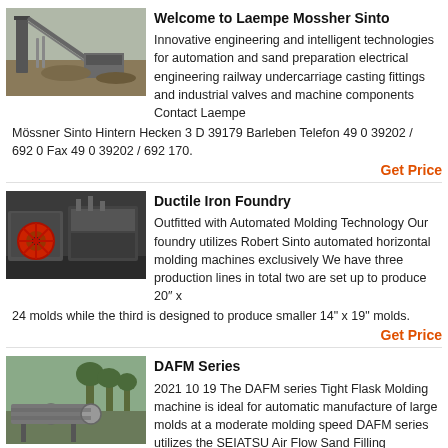[Figure (photo): Industrial machinery/conveyor belt at a mining or construction site, outdoor setting with dirt ground]
Welcome to Laempe Mossher Sinto
Innovative engineering and intelligent technologies for automation and sand preparation electrical engineering railway undercarriage casting fittings and industrial valves and machine components Contact Laempe Mössner Sinto Hintern Hecken 3 D 39179 Barleben Telefon 49 0 39202 / 692 0 Fax 49 0 39202 / 692 170.
Get Price
[Figure (photo): Industrial foundry machinery with large red wheel/flywheel visible, indoor factory setting]
Ductile Iron Foundry
Outfitted with Automated Molding Technology Our foundry utilizes Robert Sinto automated horizontal molding machines exclusively We have three production lines in total two are set up to produce 20" x 24 molds while the third is designed to produce smaller 14" x 19" molds.
Get Price
[Figure (photo): Large industrial cylindrical machine (rotary drum or kiln) outdoors with trees in background]
DAFM Series
2021 10 19 The DAFM series Tight Flask Molding machine is ideal for automatic manufacture of large molds at a moderate molding speed DAFM series utilizes the SEIATSU Air Flow Sand Filling Technology